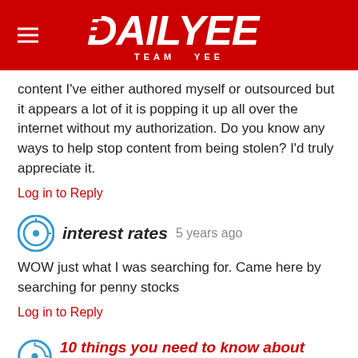DAILYEE TEAM YEE
content I've either authored myself or outsourced but it appears a lot of it is popping it up all over the internet without my authorization. Do you know any ways to help stop content from being stolen? I'd truly appreciate it.
Log in to Reply
interest rates 5 years ago
WOW just what I was searching for. Came here by searching for penny stocks
Log in to Reply
10 things you need to know about chuck norris
5 years ago